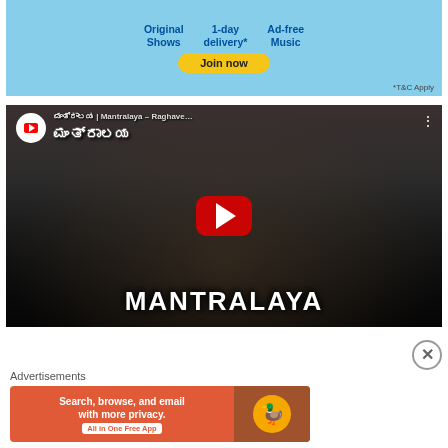[Figure (screenshot): Advertisement banner with light blue background showing 'Original Shows', '1-day delivery*', 'Ad-free Music' features, a yellow 'Join now' button, and '*T&C Apply' text]
[Figure (screenshot): YouTube video thumbnail for 'Mantralaya - Raghave...' video showing a temple procession with an elephant carrying a golden palanquin and crowds. Large text 'MANTRALAYA' at bottom. Red YouTube play button in center.]
Advertisements
[Figure (screenshot): DuckDuckGo advertisement: orange background with text 'Search, browse, and email with more privacy. All in One Free App' and DuckDuckGo duck logo on dark brown right panel]